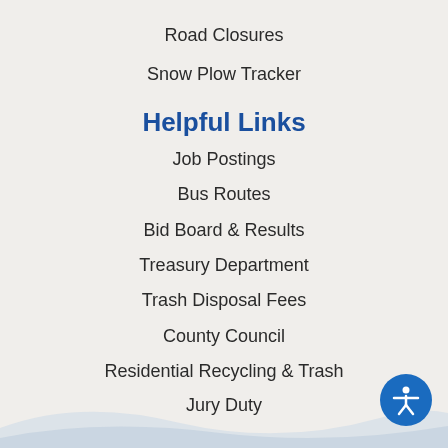Road Closures
Snow Plow Tracker
Helpful Links
Job Postings
Bus Routes
Bid Board & Results
Treasury Department
Trash Disposal Fees
County Council
Residential Recycling & Trash
Jury Duty